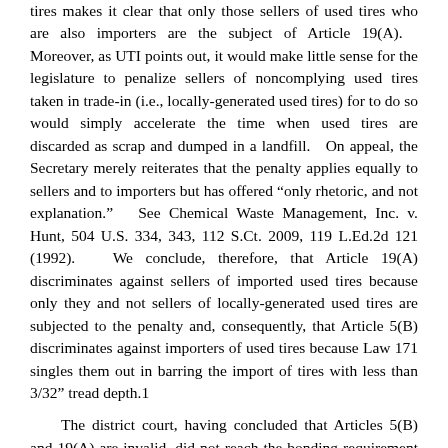tires makes it clear that only those sellers of used tires who are also importers are the subject of Article 19(A). Moreover, as UTI points out, it would make little sense for the legislature to penalize sellers of noncomplying used tires taken in trade-in (i.e., locally-generated used tires) for to do so would simply accelerate the time when used tires are discarded as scrap and dumped in a landfill. On appeal, the Secretary merely reiterates that the penalty applies equally to sellers and to importers but has offered “only rhetoric, and not explanation.” See Chemical Waste Management, Inc. v. Hunt, 504 U.S. 334, 343, 112 S.Ct. 2009, 119 L.Ed.2d 121 (1992). We conclude, therefore, that Article 19(A) discriminates against sellers of imported used tires because only they and not sellers of locally-generated used tires are subjected to the penalty and, consequently, that Article 5(B) discriminates against importers of used tires because Law 171 singles them out in barring the import of tires with less than 3/32” tread depth.1
The district court, having concluded that Articles 5(B) and 19(A) are invalid, did not reach the bonding requirement under Article 5(D). That article provides that “[e]very tire importer shall file . a bond . equivalent to the total cost of the handling and disposal of the imported product. Should more than 10%